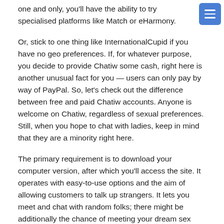one and only, you'll have the ability to try specialised platforms like Match or eHarmony.
Or, stick to one thing like InternationalCupid if you have no geo preferences. If, for whatever purpose, you decide to provide Chatiw some cash, right here is another unusual fact for you — users can only pay by way of PayPal. So, let's check out the difference between free and paid Chatiw accounts. Anyone is welcome on Chatiw, regardless of sexual preferences. Still, when you hope to chat with ladies, keep in mind that they are a minority right here.
The primary requirement is to download your computer version, after which you'll access the site. It operates with easy-to-use options and the aim of allowing customers to talk up strangers. It lets you meet and chat with random folks; there might be additionally the chance of meeting your dream sex partner. Ultimate Guitar is our favourite from over 600 apps for music lyrics and chords. With a music library of greater than 800,000 songs, you will easily find the chords and lyrics to all of your favourite songs. Notation Pad is our runner-up as you can simply write and share your unique song creations, full with lyrics and chords.